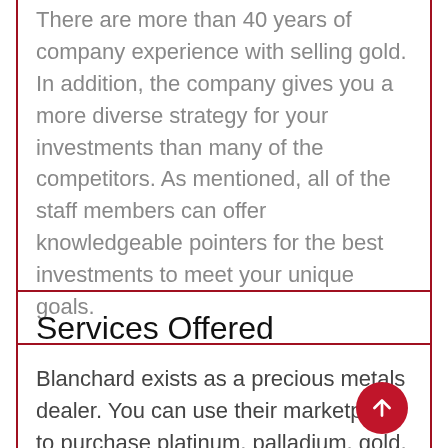There are more than 40 years of company experience with selling gold. In addition, the company gives you a more diverse strategy for your investments than many of the competitors. As mentioned, all of the staff members can offer knowledgeable pointers for the best investments to meet your unique goals.
Services Offered
Blanchard exists as a precious metals dealer. You can use their marketplace to purchase platinum, palladium, gold, and silver coins and bars. These have the appropriate purity levels for use in retirement accounts.